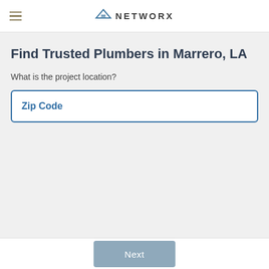NETWORX
Find Trusted Plumbers in Marrero, LA
What is the project location?
Zip Code
Next